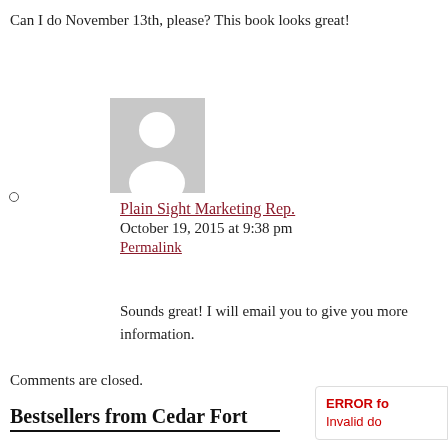Can I do November 13th, please? This book looks great!
[Figure (illustration): Generic grey avatar/placeholder user icon showing a silhouette of a person]
Plain Sight Marketing Rep.
October 19, 2015 at 9:38 pm
Permalink
Sounds great! I will email you to give you more information.
Comments are closed.
Bestsellers from Cedar Fort
ERROR for Invalid do